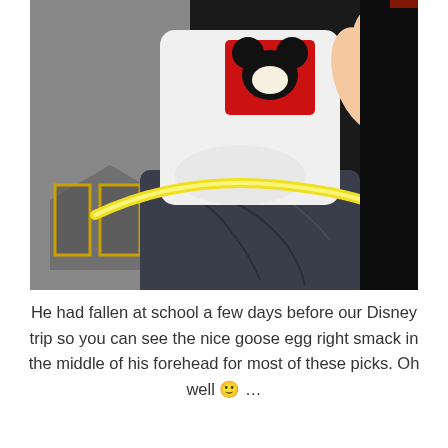[Figure (photo): A young child wearing a white Mickey Mouse shirt and dark jeans, sitting on what appears to be a couch or seat next to someone wearing a grey shirt with a logo. A yellow curved object (glow stick or toy) is visible across the child's lap. The background on the right is dark.]
He had fallen at school a few days before our Disney trip so you can see the nice goose egg right smack in the middle of his forehead for most of these picks. Oh well 🙂 ...